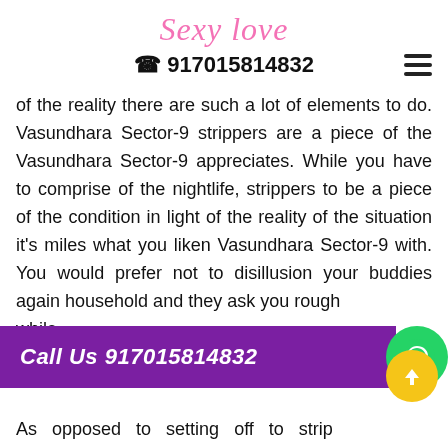Sexy Love
☎ 917015814832
of the reality there are such a lot of elements to do. Vasundhara Sector-9 strippers are a piece of the Vasundhara Sector-9 appreciates. While you have to comprise of the nightlife, strippers to be a piece of the condition in light of the reality of the situation it's miles what you liken Vasundhara Sector-9 with. You would prefer not to disillusion your buddies again household and they ask you rough while
[Figure (infographic): Purple banner with white italic text 'Call Us 917015814832', green WhatsApp circle button, yellow up-arrow circle button]
As opposed to setting off to strip